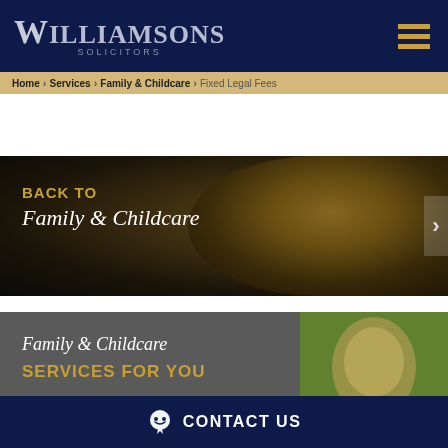WILLIAMSONS SOLICITORS
Home > Services > Family & Childcare > Fixed Legal Fees
[Figure (illustration): Dark banner with a teddy bear image on the right, text 'BACK TO Family & Childcare' on left in gold and white italic]
[Figure (illustration): Grey banner with a photo of a smiling girl on the right, text 'Family & Childcare SERVICES FOR YOU' in white italic and gold bold]
CONTACT US